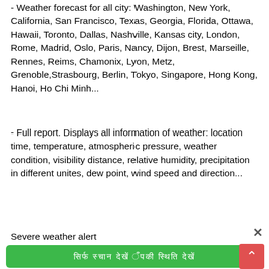- Weather forecast for all city: Washington, New York, California, San Francisco, Texas, Georgia, Florida, Ottawa, Hawaii, Toronto, Dallas, Nashville, Kansas city, London, Rome, Madrid, Oslo, Paris, Nancy, Dijon, Brest, Marseille, Rennes, Reims, Chamonix, Lyon, Metz, Grenoble,Strasbourg, Berlin, Tokyo, Singapore, Hong Kong, Hanoi, Ho Chi Minh...
- Full report. Displays all information of weather: location time, temperature, atmospheric pressure, weather condition, visibility distance, relative humidity, precipitation in different unites, dew point, wind speed and direction...
Severe weather alert
[Figure (other): Green button with non-Latin script text (appears to be Hindi/Devanagari)]